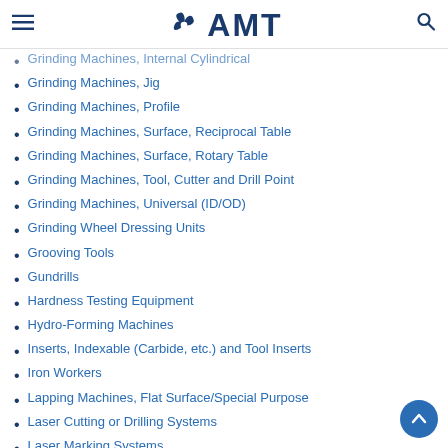AMT
Grinding Machines, Internal Cylindrical
Grinding Machines, Jig
Grinding Machines, Profile
Grinding Machines, Surface, Reciprocal Table
Grinding Machines, Surface, Rotary Table
Grinding Machines, Tool, Cutter and Drill Point
Grinding Machines, Universal (ID/OD)
Grinding Wheel Dressing Units
Grooving Tools
Gundrills
Hardness Testing Equipment
Hydro-Forming Machines
Inserts, Indexable (Carbide, etc.) and Tool Inserts
Iron Workers
Lapping Machines, Flat Surface/Special Purpose
Laser Cutting or Drilling Systems
Laser Marking Systems
Laser Measurement Systems
Laser Welding and Cladding Machines
Lasers, CO2